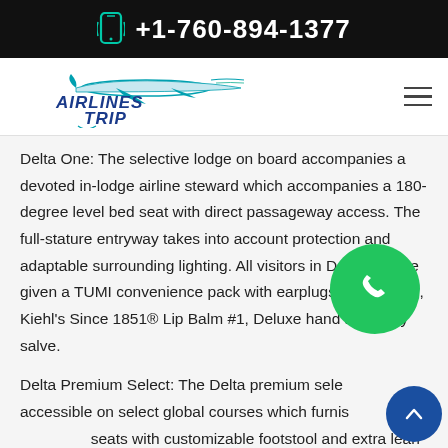+1-760-894-1377
[Figure (logo): Airlines Trip logo with airplane graphic and teal/blue text]
Delta One: The selective lodge on board accompanies a devoted in-lodge airline steward which accompanies a 180-degree level bed seat with direct passageway access. The full-stature entryway takes into account protection and adaptable surrounding lighting. All visitors in Deta One are given a TUMI convenience pack with earplugs, eyeshades, Kiehl's Since 1851® Lip Balm #1, Deluxe hand and body salve.
Delta Premium Select: The Delta premium select is accessible on select global courses which furnish able seats with customizable footstool and extra lean back. The travelers are given plated dinners and a devoted airline steward.
First Class: The first class permits travelers to unwind constantly